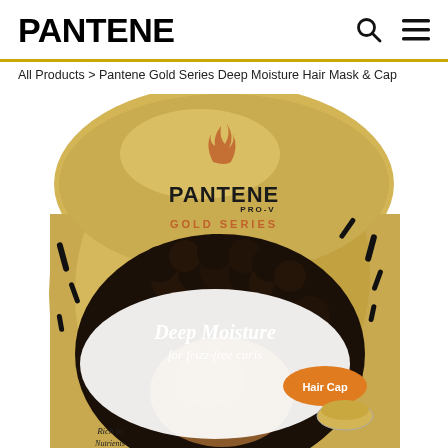PANTENE
All Products > Pantene Gold Series Deep Moisture Hair Mask & Cap
[Figure (photo): Pantene Gold Series Deep Moisture Hair Mask & Cap product packaging — a gold foil pouch with Pantene PRO-V Gold Series branding, featuring a woman with large curly afro hair, text reading 'Deep Moisture for frizz-free curls', a Hair Cap badge, and 'Rich in...' text at the bottom. Black brush-stroke accents surround the product image.]